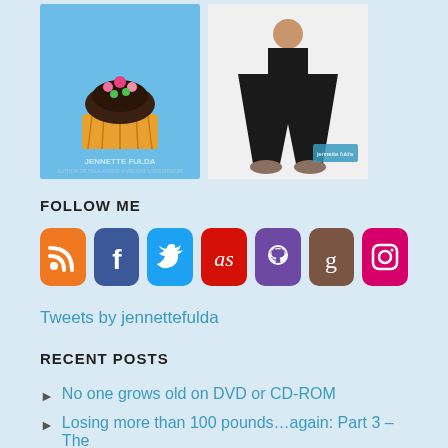[Figure (photo): Two book covers by Jennette Fulda side by side on a light blue background — left book shows a cupcake with text 'JENNETTE FULDA', right book shows a person standing in oversized pants]
FOLLOW ME
[Figure (infographic): Row of 7 social media icon buttons: RSS (orange), Facebook (blue), Twitter (light blue), Last.fm (red), GitHub (purple), Goodreads (brown), Instagram (pink/magenta)]
Tweets by jennettefulda
RECENT POSTS
No one grows old on DVD or CD-ROM
Losing more than 100 pounds…again: Part 3 – The